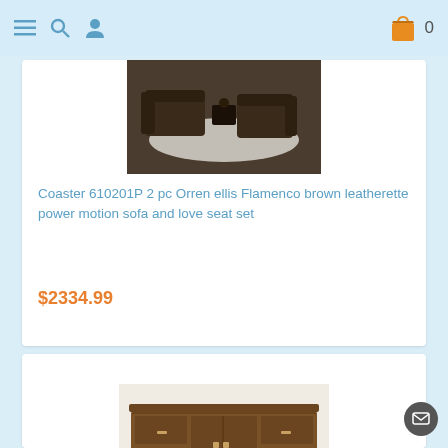Navigation bar with menu, search, user, cart (0)
[Figure (photo): Photo of brown leather power motion recliner sofa set on a light area rug with dark floor]
Coaster 610201P 2 pc Orren ellis Flamenco brown leatherette power motion sofa and love seat set
$2334.99
[Figure (photo): Photo of a brown wood sideboard/console table with drawers and cabinet doors]